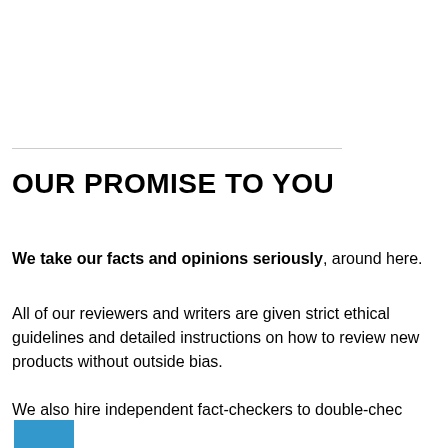OUR PROMISE TO YOU
We take our facts and opinions seriously, around here.
All of our reviewers and writers are given strict ethical guidelines and detailed instructions on how to review new products without outside bias.
We also hire independent fact-checkers to double-check